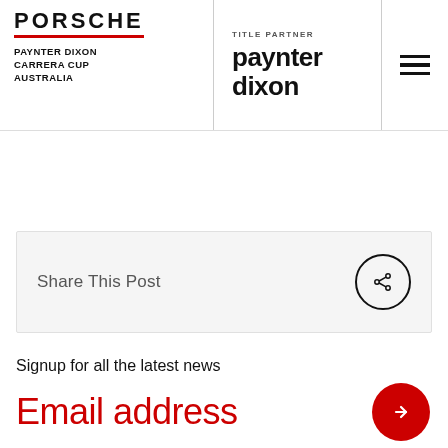PORSCHE | PAYNTER DIXON CARRERA CUP AUSTRALIA | TITLE PARTNER paynter dixon
Share This Post
Signup for all the latest news
Email address